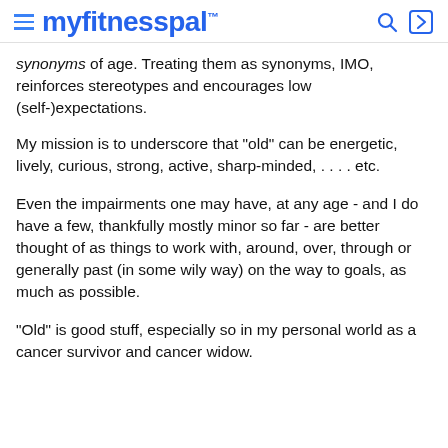myfitnesspal
synonyms of age. Treating them as synonyms, IMO, reinforces stereotypes and encourages low (self-)expectations.
My mission is to underscore that "old" can be energetic, lively, curious, strong, active, sharp-minded, . . . . etc.
Even the impairments one may have, at any age - and I do have a few, thankfully mostly minor so far - are better thought of as things to work with, around, over, through or generally past (in some wily way) on the way to goals, as much as possible.
"Old" is good stuff, especially so in my personal world as a cancer survivor and cancer widow.